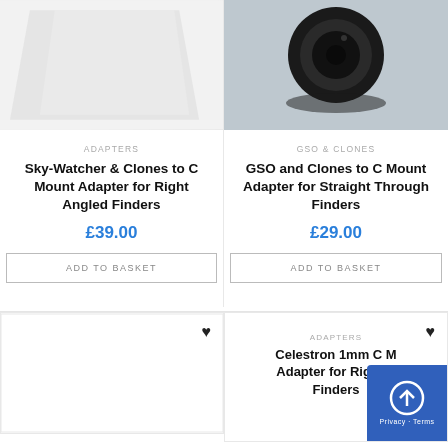[Figure (photo): Product image placeholder - light grey angled paper/card shape on white background]
ADAPTERS
Sky-Watcher & Clones to C Mount Adapter for Right Angled Finders
£39.00
ADD TO BASKET
[Figure (photo): Product image - black circular adapter/lens mount viewed from above on grey background]
GSO & CLONES
GSO and Clones to C Mount Adapter for Straight Through Finders
£29.00
ADD TO BASKET
[Figure (photo): Bottom left product card - empty white image area with heart icon]
ADAPTERS
Celestron 1mm C Mount Adapter for Right Angled Finders
[Figure (screenshot): Blue overlay with tools/settings icon and Privacy + Terms text]